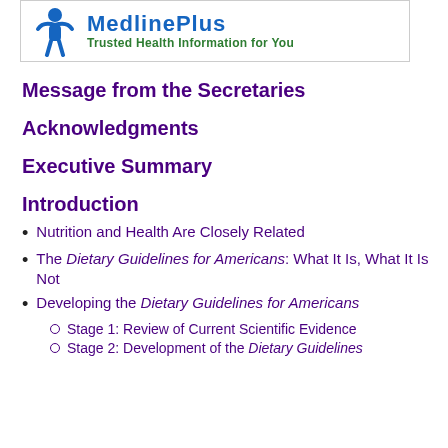[Figure (logo): MedlinePlus logo with blue human figure icon and text 'Trusted Health Information for You' in green]
Message from the Secretaries
Acknowledgments
Executive Summary
Introduction
Nutrition and Health Are Closely Related
The Dietary Guidelines for Americans: What It Is, What It Is Not
Developing the Dietary Guidelines for Americans
Stage 1: Review of Current Scientific Evidence
Stage 2: Development of the Dietary Guidelines